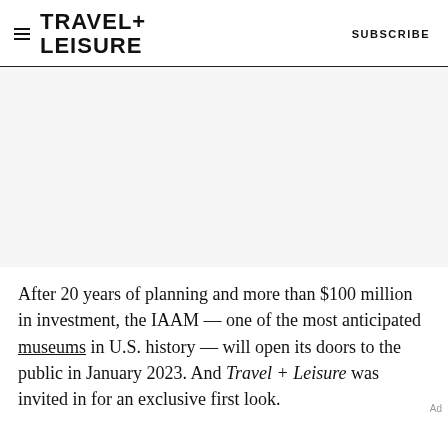TRAVEL+ LEISURE  SUBSCRIBE
[Figure (photo): Large photo area, appears white/blank in this view]
After 20 years of planning and more than $100 million in investment, the IAAM — one of the most anticipated museums in U.S. history — will open its doors to the public in January 2023. And Travel + Leisure was invited in for an exclusive first look.